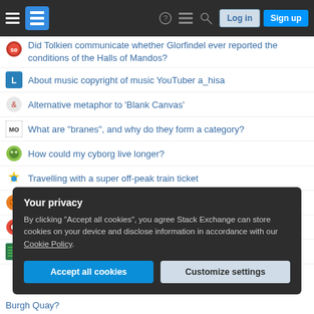Stack Exchange navigation header with Log in and Sign up buttons
Did Tolkien communicate whether Glorfindel ever reported the conditions of the Halls of Mandos?
About music copyright of music YouTuber a_hisa
Alternative metaphor to 'Blank Canvas'
What are "branes", and why do they form a category?
How could my cyborg live longer?
Travelling with a super off-peak train ticket
Solution gets worse as I increase Precision and Accuracy goals
Solenoid switching without relays
Pick two numbers from 1-10, maximize the expected product
Your privacy
By clicking "Accept all cookies", you agree Stack Exchange can store cookies on your device and disclose information in accordance with our Cookie Policy.
[Accept all cookies] [Customize settings]
Burgh Quay?